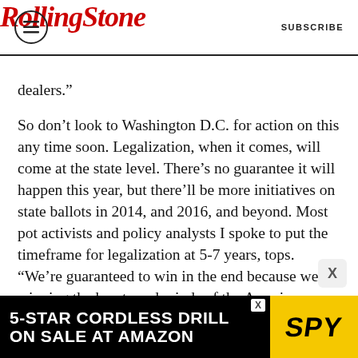Rolling Stone | SUBSCRIBE
dealers.”
So don’t look to Washington D.C. for action on this any time soon. Legalization, when it comes, will come at the state level. There’s no guarantee it will happen this year, but there’ll be more initiatives on state ballots in 2014, and 2016, and beyond. Most pot activists and policy analysts I spoke to put the timeframe for legalization at 5-7 years, tops. “We’re guaranteed to win in the end because we’re winning the hearts and minds of the American public,” says NORML’s Keith Stroup.
And then? “If we got state-level legalization and it
[Figure (screenshot): Advertisement banner: 5-STAR CORDLESS DRILL ON SALE AT AMAZON with SPY logo on yellow background]